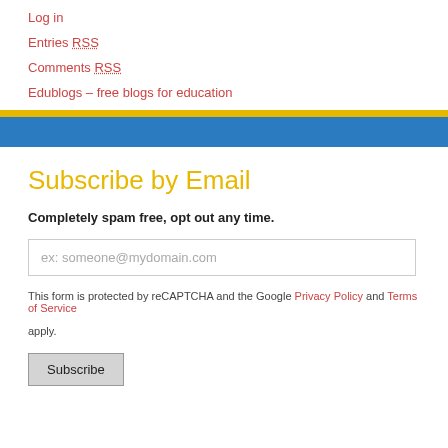Log in
Entries RSS
Comments RSS
Edublogs – free blogs for education
Subscribe by Email
Completely spam free, opt out any time.
ex: someone@mydomain.com
This form is protected by reCAPTCHA and the Google Privacy Policy and Terms of Service apply.
Subscribe